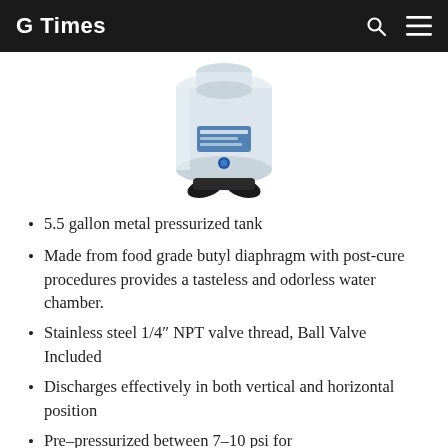G Times
[Figure (photo): White metal pressurized water tank (5.5 gallon) with blue label sticker and black plastic base/feet, shown on white background.]
5.5 gallon metal pressurized tank
Made from food grade butyl diaphragm with post-cure procedures provides a tasteless and odorless water chamber.
Stainless steel 1/4″ NPT valve thread, Ball Valve Included
Discharges effectively in both vertical and horizontal position
Pre-pressurized between 7-10 psi for